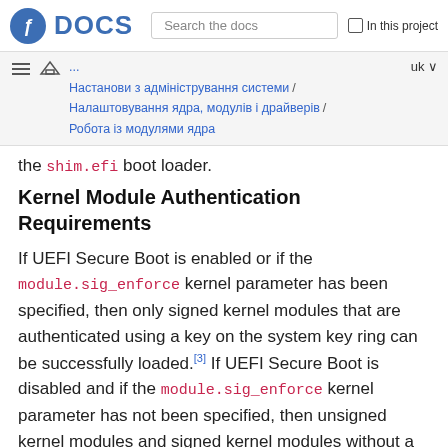Fedora DOCS — Search the docs | In this project
Настанови з адміністрування системи / Налаштовування ядра, модулів і драйверів / Робота із модулями ядра — uk
the shim.efi boot loader.
Kernel Module Authentication Requirements
If UEFI Secure Boot is enabled or if the module.sig_enforce kernel parameter has been specified, then only signed kernel modules that are authenticated using a key on the system key ring can be successfully loaded.[3] If UEFI Secure Boot is disabled and if the module.sig_enforce kernel parameter has not been specified, then unsigned kernel modules and signed kernel modules without a public key can be successfully loaded. This is